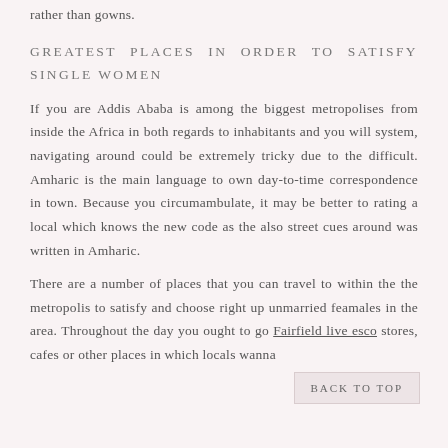rather than gowns.
GREATEST PLACES IN ORDER TO SATISFY SINGLE WOMEN
If you are Addis Ababa is among the biggest metropolises from inside the Africa in both regards to inhabitants and you will system, navigating around could be extremely tricky due to the difficult. Amharic is the main language to own day-to-time correspondence in town. Because you circumambulate, it may be better to rating a local which knows the new code as the also street cues around was written in Amharic.
There are a number of places that you can travel to within the the metropolis to satisfy and choose right up unmarried feamales in the area. Throughout the day you ought to go Fairfield live esco stores, cafes or other places in which locals wanna